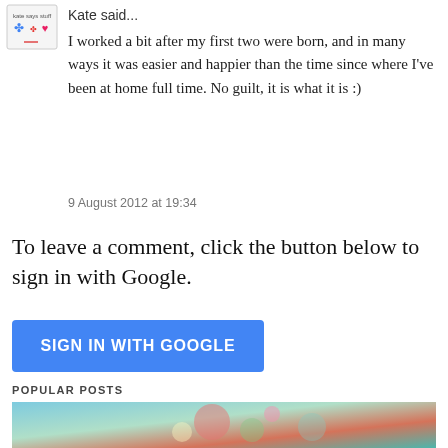[Figure (logo): Small blog avatar/logo with text and icons]
Kate said...
I worked a bit after my first two were born, and in many ways it was easier and happier than the time since where I've been at home full time. No guilt, it is what it is :)
9 August 2012 at 19:34
To leave a comment, click the button below to sign in with Google.
[Figure (screenshot): Blue button labeled SIGN IN WITH GOOGLE]
POPULAR POSTS
[Figure (photo): Photo of a floral dress, partially visible at bottom of page]